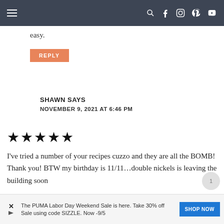Navigation bar with hamburger menu and social icons
easy.
REPLY
SHAWN SAYS
NOVEMBER 9, 2021 AT 6:46 PM
[Figure (other): Five filled black star rating icons]
I've tried a number of your recipes cuzzo and they are all the BOMB! Thank you! BTW my birthday is 11/11...double nickels is leaving the building soon
The PUMA Labor Day Weekend Sale is here. Take 30% off Sale using code SIZZLE. Now -9/5
SHOP NOW